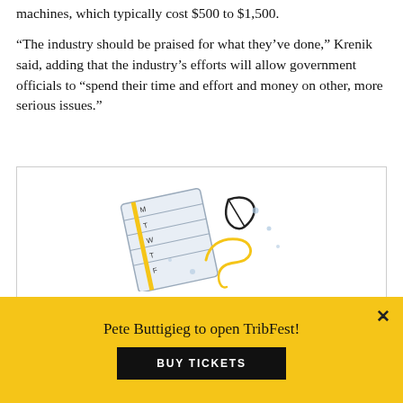machines, which typically cost $500 to $1,500.
“The industry should be praised for what they’ve done,” Krenik said, adding that the industry’s efforts will allow government officials to “spend their time and effort and money on other, more serious issues.”
[Figure (illustration): Illustrated calendar page curling up with a leaf and golden plant/swirl design, representing an energy and environment newsletter or event.]
Catch up on energy and environment
Pete Buttigieg to open TribFest!
BUY TICKETS